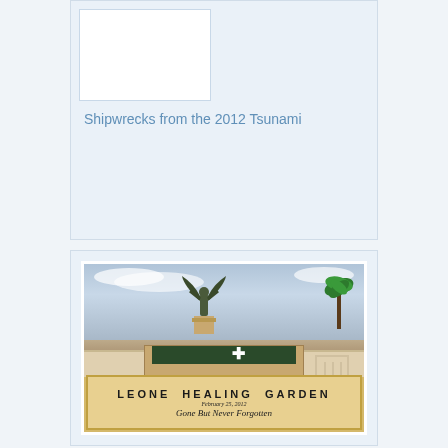[Figure (photo): Top card showing a white photo frame area on a light blue background, partially visible, appearing to show shipwrecks from the 2012 tsunami]
Shipwrecks from the 2012 Tsunami
[Figure (photo): Photo of the Leone Healing Garden memorial monument. A bronze statue of an angel/figure on a stone pedestal with a dark plaque. Text on sign reads: LEONE HEALING GARDEN, February 25, 2012, Gone But Never Forgotten. A white cross is visible on the wall to the right, with palm trees and cloudy sky in background.]